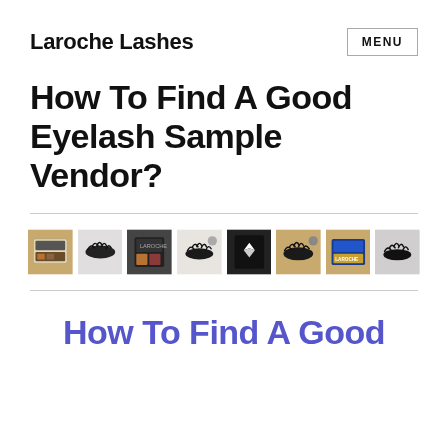Laroche Lashes
How To Find A Good Eyelash Sample Vendor?
[Figure (photo): A horizontal strip of 8 thumbnail images showing various eyelash products, cases, and packaging on different backgrounds.]
How To Find A Good